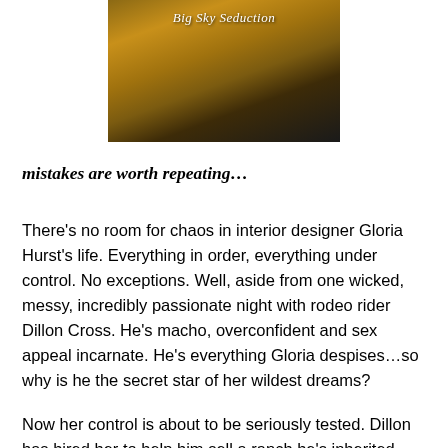[Figure (photo): Book cover image titled 'Big Sky Seduction' showing a textured golden/brown background resembling wheat or hay fields with the title text in white italic font overlaid.]
mistakes are worth repeating…
There's no room for chaos in interior designer Gloria Hurst's life. Everything in order, everything under control. No exceptions. Well, aside from one wicked, messy, incredibly passionate night with rodeo rider Dillon Cross. He's macho, overconfident and sex appeal incarnate. He's everything Gloria despises…so why is he the secret star of her wildest dreams?
Now her control is about to be seriously tested. Dillon has hired her to help him sell a ranch he's inherited. Gloria can't escape him, or the way he ignites a delicious hunger